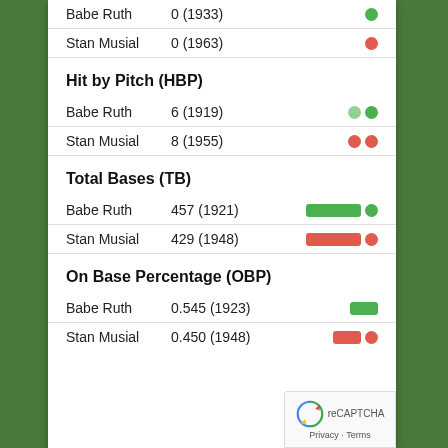Babe Ruth  0 (1933)
Stan Musial  0 (1963)
Hit by Pitch (HBP)
Babe Ruth  6 (1919)
Stan Musial  8 (1955)
Total Bases (TB)
Babe Ruth  457 (1921)
Stan Musial  429 (1948)
On Base Percentage (OBP)
Babe Ruth  0.545 (1923)
Stan Musial  0.450 (1948)